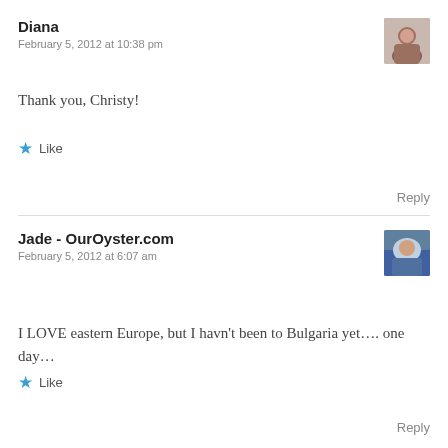Diana
February 5, 2012 at 10:38 pm
Thank you, Christy!
Like
Reply
Jade - OurOyster.com
February 5, 2012 at 6:07 am
I LOVE eastern Europe, but I havn't been to Bulgaria yet…. one day…
Like
Reply